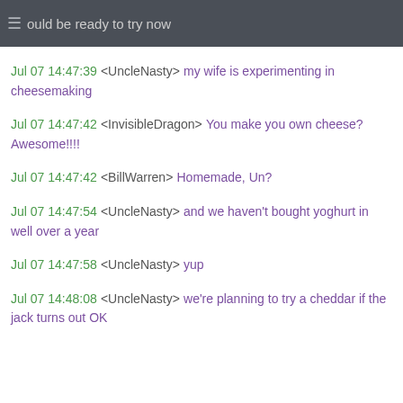should be ready to try now
Jul 07 14:47:39 <UncleNasty> my wife is experimenting in cheesemaking
Jul 07 14:47:42 <InvisibleDragon> You make you own cheese? Awesome!!!!
Jul 07 14:47:42 <BillWarren> Homemade, Un?
Jul 07 14:47:54 <UncleNasty> and we haven't bought yoghurt in well over a year
Jul 07 14:47:58 <UncleNasty> yup
Jul 07 14:48:08 <UncleNasty> we're planning to try a cheddar if the jack turns out OK